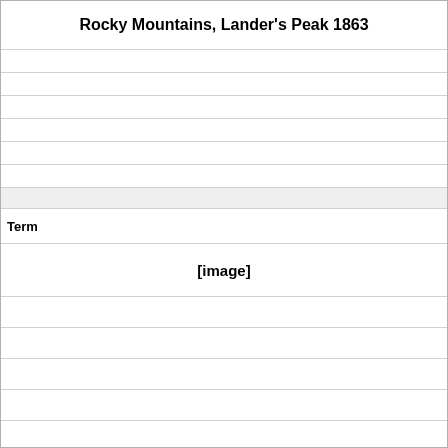Rocky Mountains, Lander's Peak 1863
Term
[Figure (other): [image]]
Definition
Bierstadt